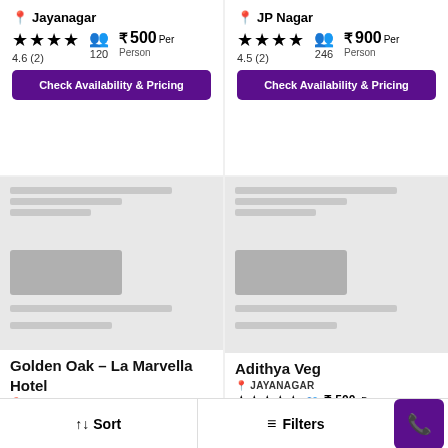Jayanagar
★★★★ 4.6 (2)  👥 120  ₹ 500 Per Person
Check Availability & Pricing
JP Nagar
★★★★ 4.5 (2)  👥 246  ₹ 900 Per Person
Check Availability & Pricing
[Figure (screenshot): Placeholder blurred card image for Golden Oak - La Marvella Hotel]
Golden Oak - La Marvella Hotel
📍 Jayanagar
[Figure (screenshot): Placeholder blurred card image for Adithya Veg]
Adithya Veg
📍 JAYANAGAR
★★★★★  👥  ₹ 500 Per...
↑↓ Sort
≡ Filters